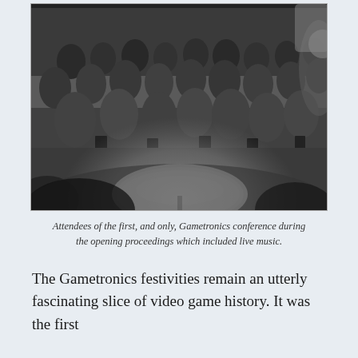[Figure (photo): Black and white photograph of attendees at the Gametronics conference, seated in rows of chairs. A large round table is visible in the foreground. A musician or performer can be seen at the right edge. The crowd is mostly men in 1970s-era suits and sport coats.]
Attendees of the first, and only, Gametronics conference during the opening proceedings which included live music.
The Gametronics festivities remain an utterly fascinating slice of video game history. It was the first